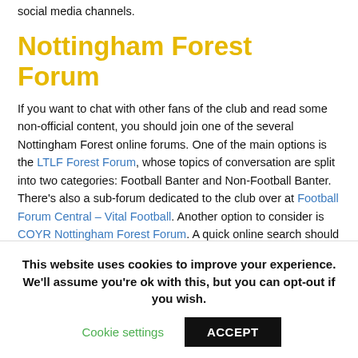social media channels.
Nottingham Forest Forum
If you want to chat with other fans of the club and read some non-official content, you should join one of the several Nottingham Forest online forums. One of the main options is the LTLF Forest Forum, whose topics of conversation are split into two categories: Football Banter and Non-Football Banter. There’s also a sub-forum dedicated to the club over at Football Forum Central – Vital Football. Another option to consider is COYR Nottingham Forest Forum. A quick online search should help you find a number of other fan forums you may want to consider joining also. As well as the non-official forums, you may want to still check out the club’s social media channels.
Nottingham Forest Tickets
The best place to purchase tickets for Nottingham Forest matches is the club’s official website. When it comes to purchasing season cards, the price
This website uses cookies to improve your experience. We’ll assume you’re ok with this, but you can opt-out if you wish.